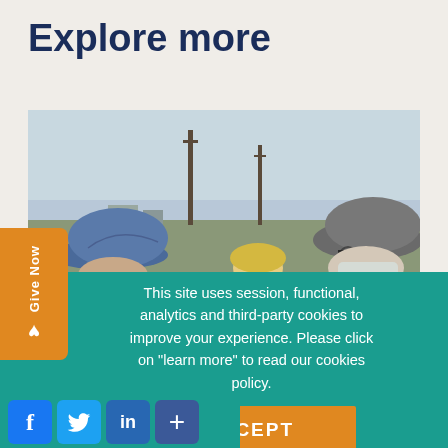Explore more
[Figure (photo): Outdoor photo showing people wearing baseball caps and a face mask, with utility poles and overcast sky in the background]
This site uses session, functional, analytics and third-party cookies to improve your experience. Please click on "learn more" to read our cookies policy.
ACCEPT
Learn More